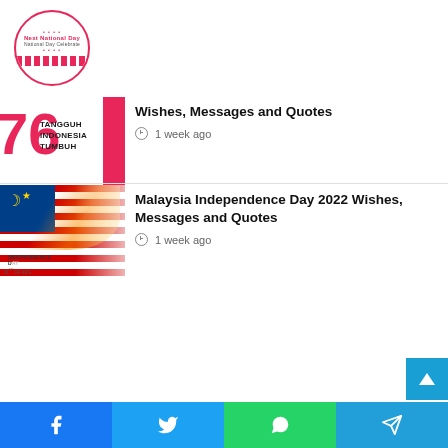[Figure (logo): Next National Day circular logo with pink/red border and text]
[Figure (photo): Indonesia Independence Day 76 thumbnail with red number and TANGGUH INDONESIA TUMBUH text]
Wishes, Messages and Quotes
1 week ago
[Figure (photo): Malaysia Independence Day 2022 thumbnail with Malaysian flag and INDEPENDENCE DAY 31st of August label]
Malaysia Independence Day 2022 Wishes, Messages and Quotes
1 week ago